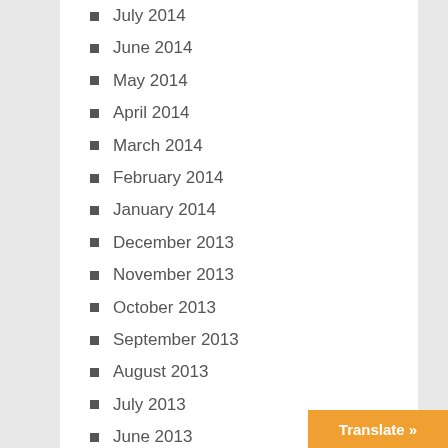July 2014
June 2014
May 2014
April 2014
March 2014
February 2014
January 2014
December 2013
November 2013
October 2013
September 2013
August 2013
July 2013
June 2013
May 2013
April 2013
March 2013